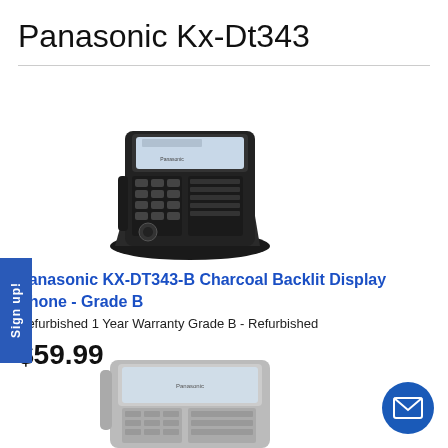Panasonic Kx-Dt343
[Figure (photo): Panasonic KX-DT343 black office desk phone with backlit display, keypad, and side buttons, shown at an angle on its stand]
Panasonic KX-DT343-B Charcoal Backlit Display Phone - Grade B
Refurbished 1 Year Warranty Grade B - Refurbished
$59.99
[Figure (photo): Panasonic KX-DT343 silver/white office desk phone with backlit display, partially visible at the bottom of the page]